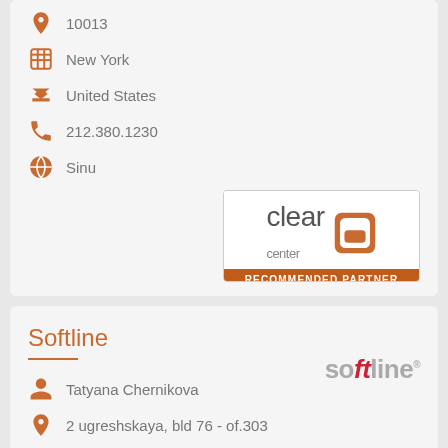10013
New York
United States
212.380.1230
Sinu
[Figure (logo): ClearCenter Recommended Partner badge]
Softline
Tatyana Chernikova
2 ugreshskaya, bld 76 - of.303
115088
Moscow
[Figure (logo): Softline company logo]
[Figure (other): Chat bubble button]